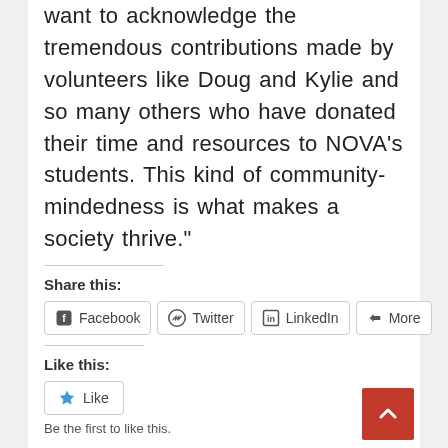want to acknowledge the tremendous contributions made by volunteers like Doug and Kylie and so many others who have donated their time and resources to NOVA’s students. This kind of community-mindedness is what makes a society thrive.”
Share this:
Facebook  Twitter  LinkedIn  More
Like this:
Like
Be the first to like this.